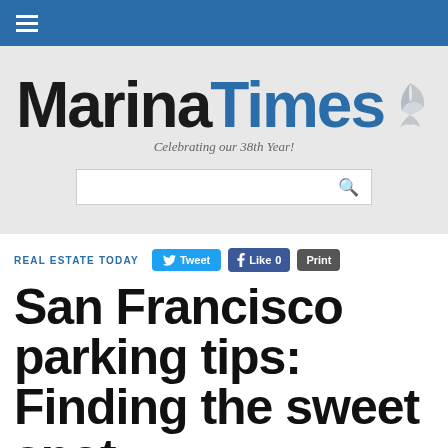Marina Times — Navigation bar
[Figure (logo): Marina Times logo with tagline 'Celebrating our 38th Year!' and a feather/sailboat icon, on a gray background with search bar below]
REAL ESTATE TODAY
San Francisco parking tips: Finding the sweet spot